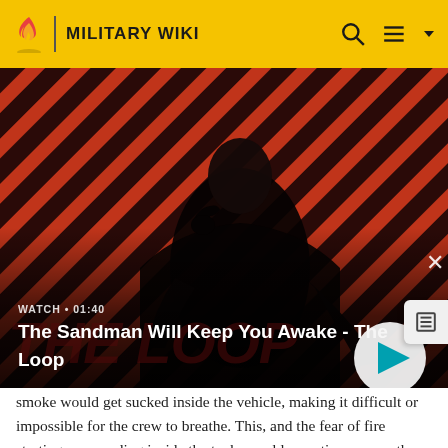MILITARY WIKI
[Figure (screenshot): Video thumbnail for 'The Sandman Will Keep You Awake - The Loop' showing a dark-cloaked figure against a red and black diagonal striped background with a raven on their shoulder. Shows WATCH • 01:40 label and play button.]
The Sandman Will Keep You Awake - The Loop
smoke would get sucked inside the vehicle, making it difficult or impossible for the crew to breathe. This, and the fear of fire starting or spreading inside the tank, would sometimes cause the crew to abandon the tank.[87] There were several recorded instances where white phosphorus shells defeated German tanks in this fashion.[88]